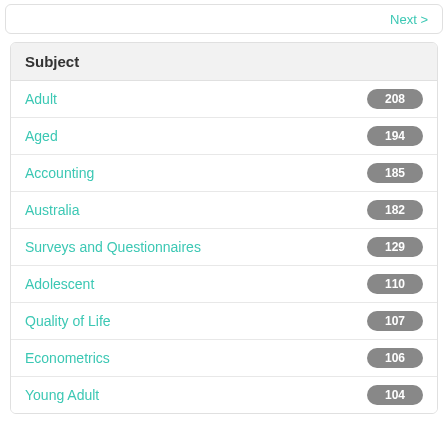Next >
| Subject | Count |
| --- | --- |
| Adult | 208 |
| Aged | 194 |
| Accounting | 185 |
| Australia | 182 |
| Surveys and Questionnaires | 129 |
| Adolescent | 110 |
| Quality of Life | 107 |
| Econometrics | 106 |
| Young Adult | 104 |